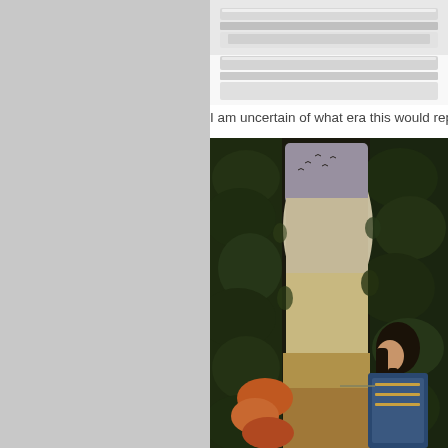[Figure (photo): Cropped photo of a framed artwork — silver/white painted frame edges visible against a white background, top portion only]
I am uncertain of what era this would rep
[Figure (photo): Close-up of a classical painting showing dark foliage archway, a pale sky background with small birds, a woman with long dark hair in ornate dress looking downward, and another figure partially visible at lower left]